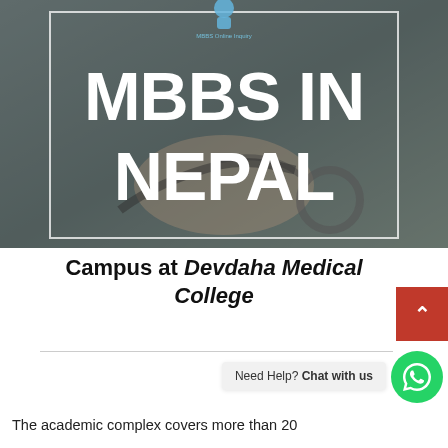[Figure (illustration): Hero banner with 'MBBS IN NEPAL' text over a dark medical-themed background with a stethoscope, bordered by a white rectangle frame and a small person icon at top center]
Campus at Devdaha Medical College
The academic complex covers more than 20